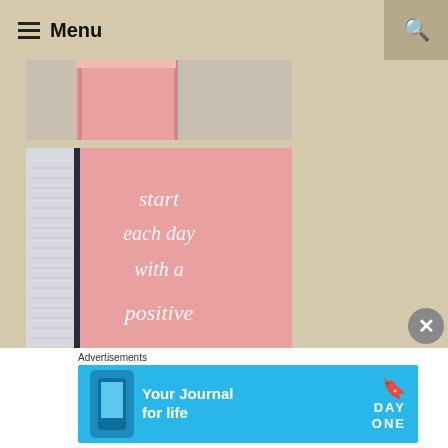≡ Menu
[Figure (photo): Top portion of a pink journal/notebook spine against a light textured background]
[Figure (photo): Open journal showing a pink page with white script text reading 'start each day with a positive thought', next to lined white pages, on a marble surface]
Advertisements
[Figure (other): Advertisement banner for Day One - Your Journal for life app, light blue background with phone graphic]